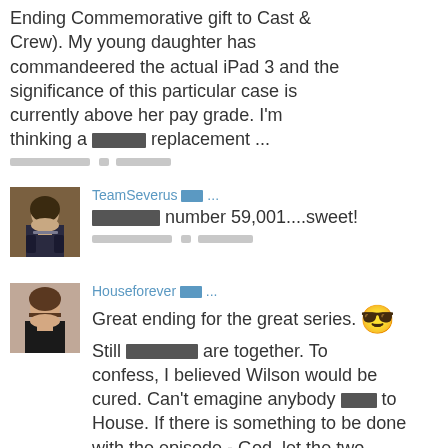Ending Commemorative gift to Cast & Crew). My young daughter has commandeered the actual iPad 3 and the significance of this particular case is currently above her pay grade. I'm thinking a [redacted] replacement ...
[meta] [redacted] or [redacted] [redacted]
TeamSeverus [redacted] ...
[redacted] number 59,001....sweet!
[meta]
Houseforever [redacted] ...
Great ending for the great series. [emoji] Still [redacted] are together. To confess, I believed Wilson would be cured. Can't emagine anybody [redacted] to House. If there is something to be done with the episode - God, let the two [redacted] stay together.
[meta]
greghouseismine [redacted] [redacted] [redacted] [redacted]